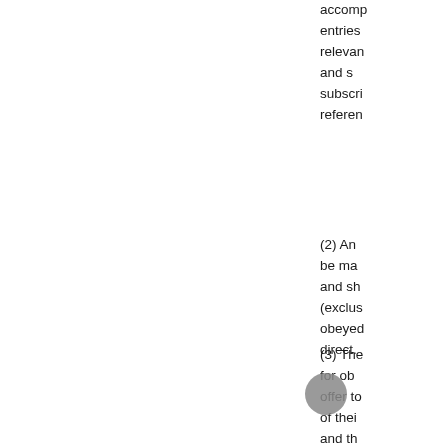accomp entries relevan and su subscri referen
(2) An be mad and sh (exclus obeyed direct.
(3) The for obe offer to of thei and th